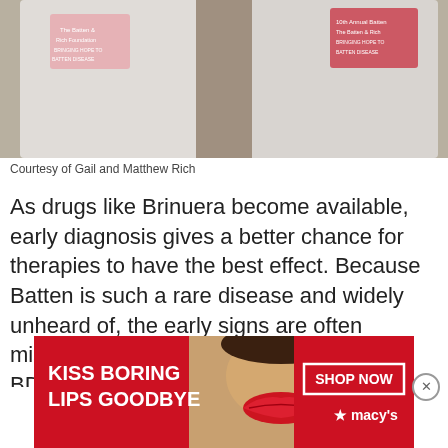[Figure (photo): Two people wearing white shirts, shown from chest down, partially cropped]
Courtesy of Gail and Matthew Rich
As drugs like Brinuera become available, early diagnosis gives a better chance for therapies to have the best effect. Because Batten is such a rare disease and widely unheard of, the early signs are often missed by medical professionals. The BDFA's Early Diagnosis Project will be a big step towards achieving a faster rate of diagnosis through education and awareness of all variants of
[Figure (advertisement): Macy's advertisement: KISS BORING LIPS GOODBYE with SHOP NOW button and Macy's star logo, featuring close-up of woman's lips]